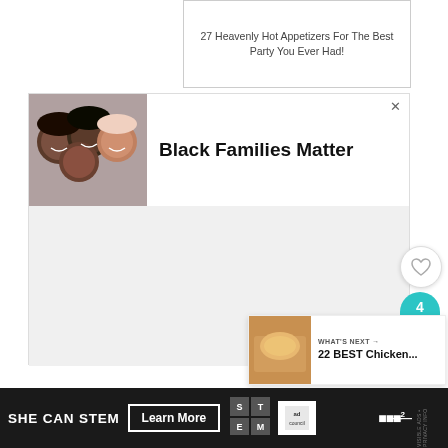27 Heavenly Hot Appetizers For The Best Party You Ever Had!
[Figure (photo): Advertisement banner: Black Families Matter with photo of group of people smiling]
Black Families Matter
[Figure (infographic): Social sidebar with heart/like button, share count of 4, and share button in teal]
[Figure (photo): What's Next promo: 22 BEST Chicken... with food image]
WHAT'S NEXT → 22 BEST Chicken...
[Figure (infographic): Bottom ad bar: SHE CAN STEM with Learn More button, STEM logo, Ad Council logo, and Meredith logo]